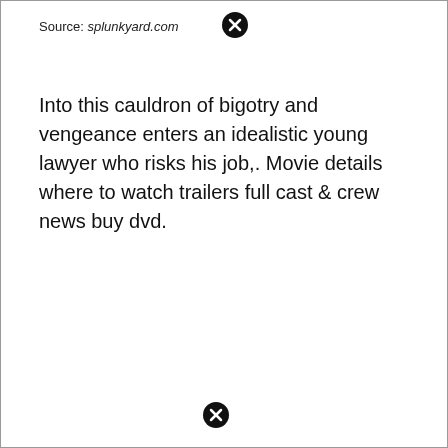Source: splunkyard.com
Into this cauldron of bigotry and vengeance enters an idealistic young lawyer who risks his job,. Movie details where to watch trailers full cast & crew news buy dvd.